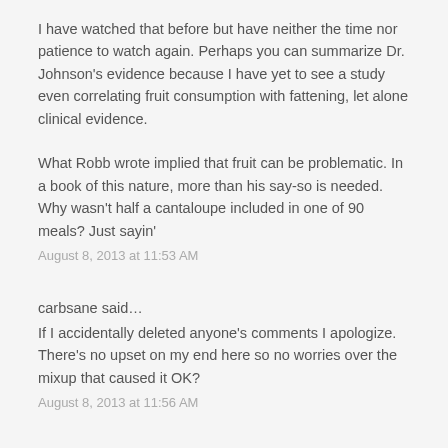I have watched that before but have neither the time nor patience to watch again. Perhaps you can summarize Dr. Johnson's evidence because I have yet to see a study even correlating fruit consumption with fattening, let alone clinical evidence.
What Robb wrote implied that fruit can be problematic. In a book of this nature, more than his say-so is needed. Why wasn't half a cantaloupe included in one of 90 meals? Just sayin'
August 8, 2013 at 11:53 AM
carbsane said...
If I accidentally deleted anyone's comments I apologize. There's no upset on my end here so no worries over the mixup that caused it OK?
August 8, 2013 at 11:56 AM